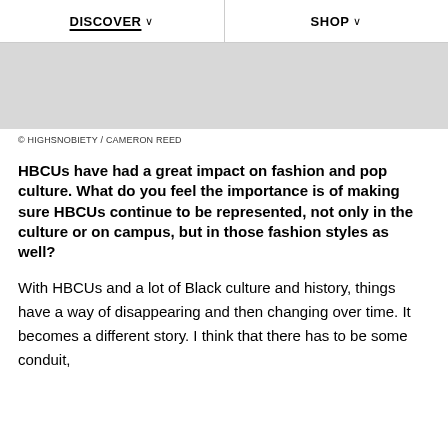DISCOVER  SHOP
[Figure (photo): Gray placeholder image rectangle]
© HIGHSNOBIETY / CAMERON REED
HBCUs have had a great impact on fashion and pop culture. What do you feel the importance is of making sure HBCUs continue to be represented, not only in the culture or on campus, but in those fashion styles as well?
With HBCUs and a lot of Black culture and history, things have a way of disappearing and then changing over time. It becomes a different story. I think that there has to be some conduit,